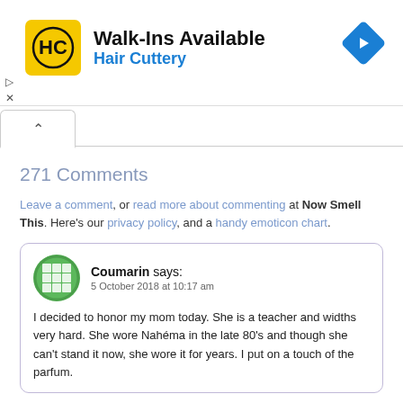[Figure (other): Hair Cuttery advertisement banner: yellow HC logo, text 'Walk-Ins Available' and 'Hair Cuttery', blue navigation arrow icon on right]
271 Comments
Leave a comment, or read more about commenting at Now Smell This. Here's our privacy policy, and a handy emoticon chart.
Coumarin says:
5 October 2018 at 10:17 am

I decided to honor my mom today. She is a teacher and widths very hard. She wore Nahéma in the late 80's and though she can't stand it now, she wore it for years. I put on a touch of the parfum.